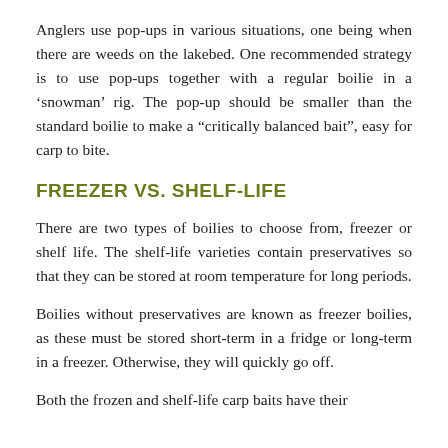Anglers use pop-ups in various situations, one being when there are weeds on the lakebed. One recommended strategy is to use pop-ups together with a regular boilie in a ‘snowman’ rig. The pop-up should be smaller than the standard boilie to make a “critically balanced bait”, easy for carp to bite.
FREEZER VS. SHELF-LIFE
There are two types of boilies to choose from, freezer or shelf life. The shelf-life varieties contain preservatives so that they can be stored at room temperature for long periods.
Boilies without preservatives are known as freezer boilies, as these must be stored short-term in a fridge or long-term in a freezer. Otherwise, they will quickly go off.
Both the frozen and shelf-life carp baits have their